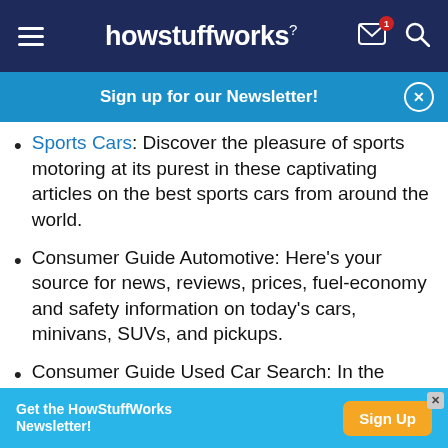howstuffworks
Sign up for our Newsletter!
Sports Cars: Discover the pleasure of sports motoring at its purest in these captivating articles on the best sports cars from around the world.
Consumer Guide Automotive: Here's your source for news, reviews, prices, fuel-economy and safety information on today's cars, minivans, SUVs, and pickups.
Consumer Guide Used Car Search: In the market for a used Chevy or virtually any other pre-owned vehicle? Check out these reports,
Get the HowStuffWorks Newsletter! Sign Up